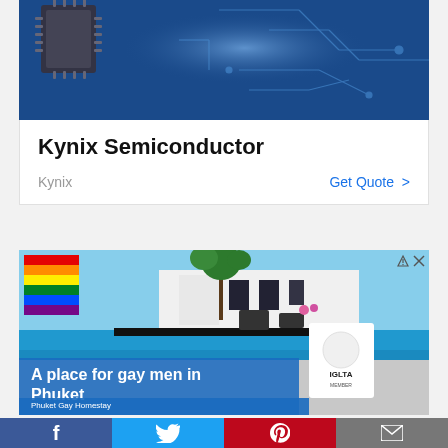[Figure (screenshot): Kynix Semiconductor advertisement banner with blue circuit board background showing a chip/processor image and circuit trace lines on dark blue background]
Kynix Semiconductor
Kynix
Get Quote >
[Figure (photo): Advertisement for Phuket Gay Homestay showing a luxury pool villa with blue swimming pool, palm trees, and white modern architecture. Rainbow pride flags in top left corner. IGLTA Member badge in bottom right. Text overlay: 'A place for gay men in Phuket' and 'Phuket Gay Homestay']
[Figure (screenshot): Social media sharing bar at bottom with Facebook (blue), Twitter (light blue), Pinterest (red), and email (grey) icons]